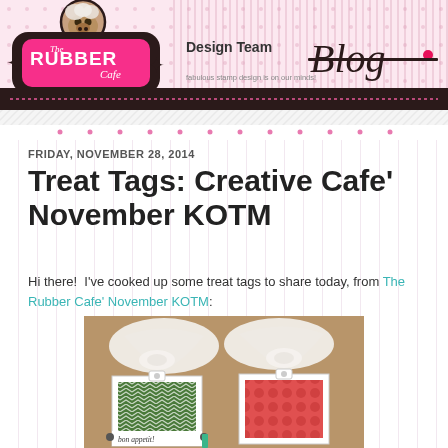[Figure (logo): The Rubber Cafe Design Team Blog header banner with pink polka dot background, logo with pug dog, and cursive 'Blog' text. Tagline: 'fabulous stamp design is on our minds!']
FRIDAY, NOVEMBER 28, 2014
Treat Tags: Creative Cafe' November KOTM
Hi there!  I've cooked up some treat tags to share today, from The Rubber Cafe' November KOTM:
[Figure (photo): Photo of handmade treat tags with white fabric bows tied around kraft paper packages. Tags show patterned paper in green chevron and red/pink patterns with 'bon appetit!' text visible.]